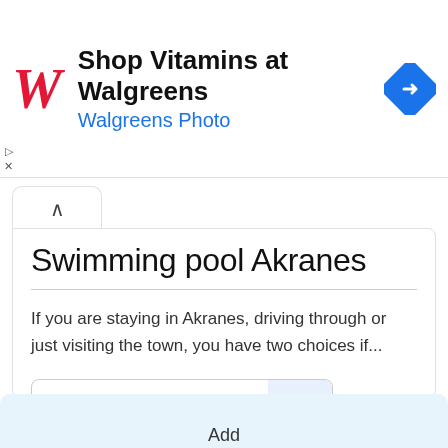[Figure (screenshot): Walgreens advertisement banner with red stylized W logo, text 'Shop Vitamins at Walgreens' and 'Walgreens Photo', and a blue navigation diamond icon on the right]
Swimming pool Akranes
If you are staying in Akranes, driving through or just visiting the town, you have two choices if...
Read More